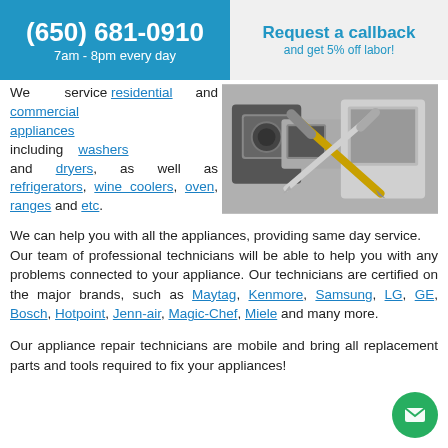(650) 681-0910 7am - 8pm every day | Request a callback and get 5% off labor!
We service residential and commercial appliances including washers and dryers, as well as refrigerators, wine coolers, oven, ranges and etc.
[Figure (photo): Appliances repair photo showing microwave, washing machine, oven with crossed screwdriver tools]
We can help you with all the appliances, providing same day service.
Our team of professional technicians will be able to help you with any problems connected to your appliance. Our technicians are certified on the major brands, such as Maytag, Kenmore, Samsung, LG, GE, Bosch, Hotpoint, Jenn-air, Magic-Chef, Miele and many more.
Our appliance repair technicians are mobile and bring all replacement parts and tools required to fix your appliances!